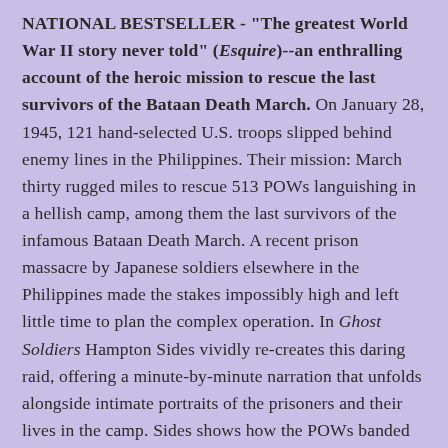NATIONAL BESTSELLER - "The greatest World War II story never told" (Esquire)--an enthralling account of the heroic mission to rescue the last survivors of the Bataan Death March. On January 28, 1945, 121 hand-selected U.S. troops slipped behind enemy lines in the Philippines. Their mission: March thirty rugged miles to rescue 513 POWs languishing in a hellish camp, among them the last survivors of the infamous Bataan Death March. A recent prison massacre by Japanese soldiers elsewhere in the Philippines made the stakes impossibly high and left little time to plan the complex operation. In Ghost Soldiers Hampton Sides vividly re-creates this daring raid, offering a minute-by-minute narration that unfolds alongside intimate portraits of the prisoners and their lives in the camp. Sides shows how the POWs banded together to survive, defying the Japanese authorities even as they endured starvation, tropical diseases, and torture. Harrowing, poignant, and inspiring,